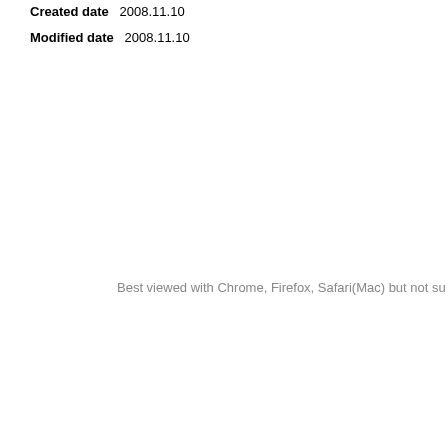Created date   2008.11.10
Modified date   2008.11.10
Best viewed with Chrome, Firefox, Safari(Mac) but not su